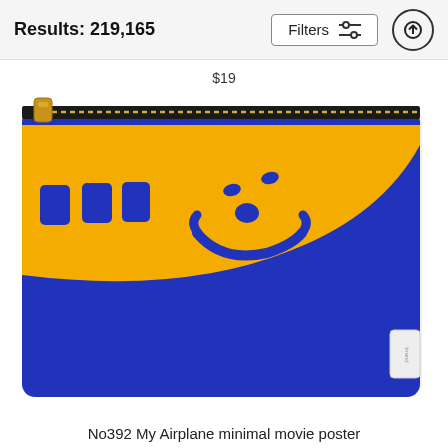Results: 219,165
Filters
$19
[Figure (photo): A zipper pouch/clutch bag featuring a yellow and dark blue airplane minimal design with a smiley face on the nose of the airplane. The bag has a gold zipper at the top and a small white brand label on the right side.]
No392 My Airplane minimal movie poster